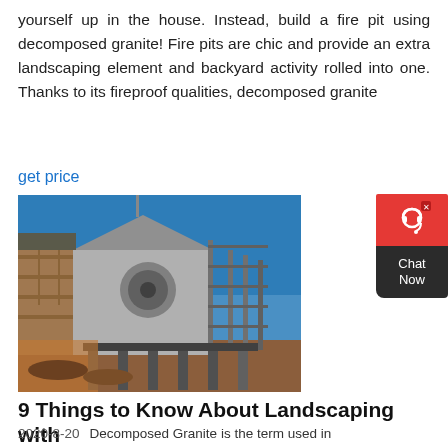yourself up in the house. Instead, build a fire pit using decomposed granite! Fire pits are chic and provide an extra landscaping element and backyard activity rolled into one. Thanks to its fireproof qualities, decomposed granite
get price
[Figure (photo): Industrial stone crushing or processing equipment with metal scaffolding and machinery, photographed outdoors against a blue sky. Stone wall visible on the left side.]
9 Things to Know About Landscaping with
2020-8-20    Decomposed Granite is the term used in